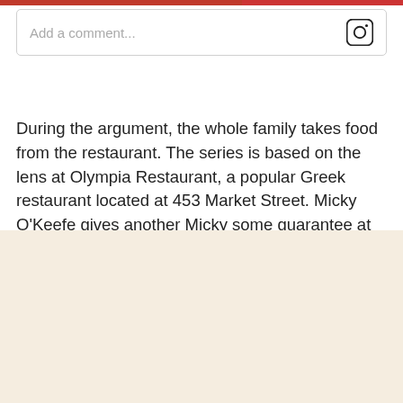Add a comment...
During the argument, the whole family takes food from the restaurant. The series is based on the lens at Olympia Restaurant, a popular Greek restaurant located at 453 Market Street. Micky O'Keefe gives another Micky some guarantee at Top Donut, a drive-thru donation shop on 700 Aiken Avenue. Boxing matches that took place across the USA in the film took place in Lowell.